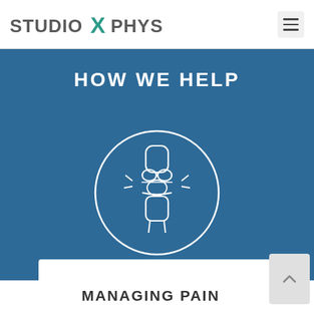[Figure (logo): Studio X Phys logo with teal X letter]
HOW WE HELP
[Figure (illustration): White outline illustration of a knee joint inside a white circle, on blue background]
MANAGING PAIN